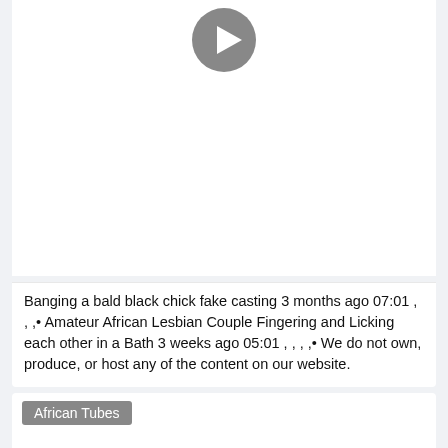[Figure (screenshot): Video thumbnail placeholder with a play button icon at the top]
Banging a bald black chick fake casting 3 months ago 07:01 , , ,• Amateur African Lesbian Couple Fingering and Licking each other in a Bath 3 weeks ago 05:01 , , , ,• We do not own, produce, or host any of the content on our website.
African Tubes
[Figure (screenshot): Video thumbnail placeholder with a play button icon at the bottom]